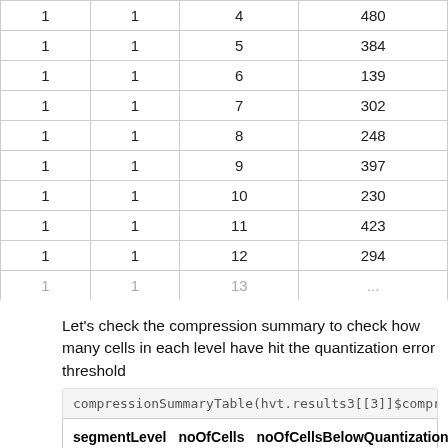| col1 | col2 | col3 | col4 |
| --- | --- | --- | --- |
| 1 | 1 | 4 | 480 |
| 1 | 1 | 5 | 384 |
| 1 | 1 | 6 | 139 |
| 1 | 1 | 7 | 302 |
| 1 | 1 | 8 | 248 |
| 1 | 1 | 9 | 397 |
| 1 | 1 | 10 | 230 |
| 1 | 1 | 11 | 423 |
| 1 | 1 | 12 | 294 |
| 1 | 1 | 13 | ... |
Let's check the compression summary to check how many cells in each level have hit the quantization error threshold
compressionSummaryTable(hvt.results3[[3]]$compression_
| segmentLevel | noOfCells | noOfCellsBelowQuantizationErr |
| --- | --- | --- |
| 1 | 15 | 0 |